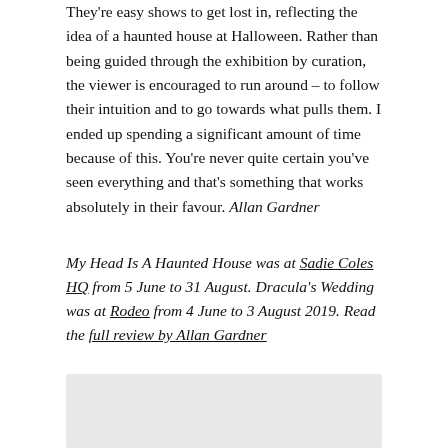They're easy shows to get lost in, reflecting the idea of a haunted house at Halloween. Rather than being guided through the exhibition by curation, the viewer is encouraged to run around – to follow their intuition and to go towards what pulls them. I ended up spending a significant amount of time because of this. You're never quite certain you've seen everything and that's something that works absolutely in their favour. Allan Gardner
My Head Is A Haunted House was at Sadie Coles HQ from 5 June to 31 August. Dracula's Wedding was at Rodeo from 4 June to 3 August 2019. Read the full review by Allan Gardner
How Chicago! Imagists 1960s & 70s at De La Warr Pavilion, Bexhill-on-Sea & Goldsmiths CCA, London
[Figure (photo): Image placeholder at bottom of page, light gray rectangle]